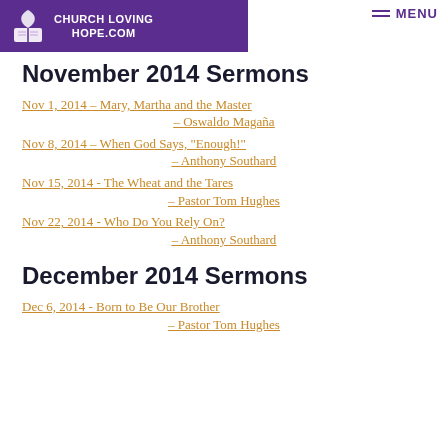CHURCH LOVING HOPE.COM
November 2014 Sermons
Nov 1, 2014 – Mary, Martha and the Master – Oswaldo Magaña
Nov 8, 2014 – When God Says, "Enough!" – Anthony Southard
Nov 15, 2014 - The Wheat and the Tares – Pastor Tom Hughes
Nov 22, 2014 - Who Do You Rely On? – Anthony Southard
December 2014 Sermons
Dec 6, 2014 - Born to Be Our Brother – Pastor Tom Hughes